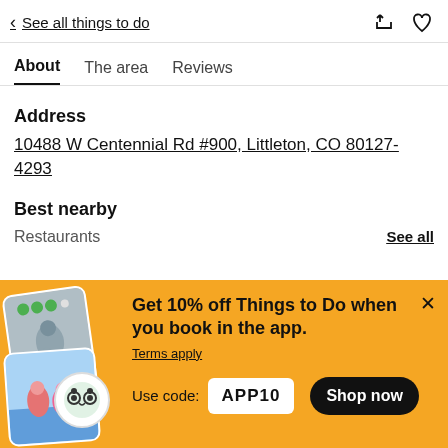< See all things to do
About  The area  Reviews
Address
10488 W Centennial Rd #900, Littleton, CO 80127-4293
Best nearby
Restaurants  See all
[Figure (screenshot): Promotional banner with yellow background showing app discount offer. Includes stacked photo cards with people hiking and at beach, TripAdvisor owl logo badge, text 'Get 10% off Things to Do when you book in the app.', Terms apply link, Use code: APP10, and Shop now button.]